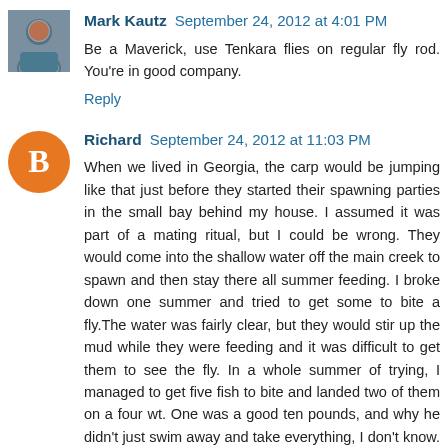[Figure (photo): Avatar photo of Mark Kautz, a man in a blue shirt]
Mark Kautz  September 24, 2012 at 4:01 PM
Be a Maverick, use Tenkara flies on regular fly rod. You're in good company.
Reply
[Figure (logo): Blogger B icon, orange circle with white B]
Richard  September 24, 2012 at 11:03 PM
When we lived in Georgia, the carp would be jumping like that just before they started their spawning parties in the small bay behind my house. I assumed it was part of a mating ritual, but I could be wrong. They would come into the shallow water off the main creek to spawn and then stay there all summer feeding. I broke down one summer and tried to get some to bite a fly.The water was fairly clear, but they would stir up the mud while they were feeding and it was difficult to get them to see the fly. In a whole summer of trying, I managed to get five fish to bite and landed two of them on a four wt. One was a good ten pounds, and why he didn't just swim away and take everything, I don't know. He fought hard, but just swam in circles until I was able to wear him out and land and release him. Sorry I didn't get a picture-